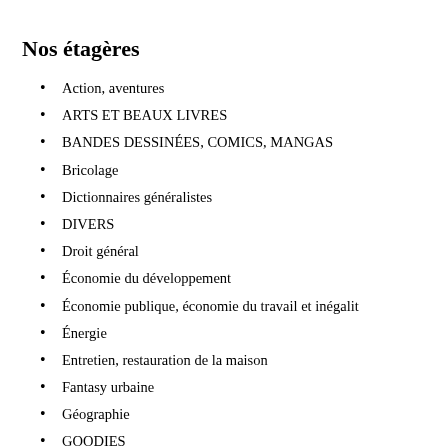Nos étagères
Action, aventures
ARTS ET BEAUX LIVRES
BANDES DESSINÉES, COMICS, MANGAS
Bricolage
Dictionnaires généralistes
DIVERS
Droit général
Économie du développement
Économie publique, économie du travail et inégalit
Énergie
Entretien, restauration de la maison
Fantasy urbaine
Géographie
GOODIES
Inégalités